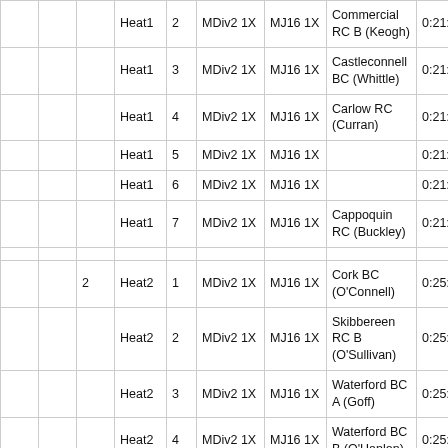|  |  |  |  |  | MDiv2 1X | MJ16 1X | Club (Athlete) | Time |
| --- | --- | --- | --- | --- | --- | --- | --- | --- |
|  |  |  | Heat1 | 2 | MDiv2 1X | MJ16 1X | Commercial RC B (Keogh) | 0:21:5 |
|  |  |  | Heat1 | 3 | MDiv2 1X | MJ16 1X | Castleconnell BC (Whittle) | 0:21:5 |
|  |  |  | Heat1 | 4 | MDiv2 1X | MJ16 1X | Carlow RC (Curran) | 0:21:5 |
|  |  |  | Heat1 | 5 | MDiv2 1X | MJ16 1X |  | 0:21:5 |
|  |  |  | Heat1 | 6 | MDiv2 1X | MJ16 1X |  | 0:21:5 |
|  |  |  | Heat1 | 7 | MDiv2 1X | MJ16 1X | Cappoquin RC (Buckley) | 0:21:5 |
|  |  |  |  |  |  |  |  |  |
|  |  | 2 | Heat2 | 1 | MDiv2 1X | MJ16 1X | Cork BC (O'Connell) | 0:25: |
|  |  |  | Heat2 | 2 | MDiv2 1X | MJ16 1X | Skibbereen RC B (O'Sullivan) | 0:25: |
|  |  |  | Heat2 | 3 | MDiv2 1X | MJ16 1X | Waterford BC A (Goff) | 0:25: |
|  |  |  | Heat2 | 4 | MDiv2 1X | MJ16 1X | Waterford BC B (O'Hanlon) | 0:25: |
|  |  |  | Heat2 | 5 | MDiv2 1X | MJ16 1X | Shandon BC (O'Sullivan) | 0:25: |